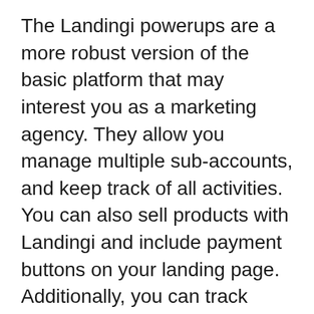The Landingi powerups are a more robust version of the basic platform that may interest you as a marketing agency. They allow you manage multiple sub-accounts, and keep track of all activities. You can also sell products with Landingi and include payment buttons on your landing page. Additionally, you can track sales and orders and customize your login page. The Agency plan allows customers and employees to invite you to use your Landingi account.
Landingi features are very similar to other top-notch email marketing tools. Landingi has some unique features. These interfaces allow you to manage leads and export them to other platforms. You can also integrate them into your existing solutions...